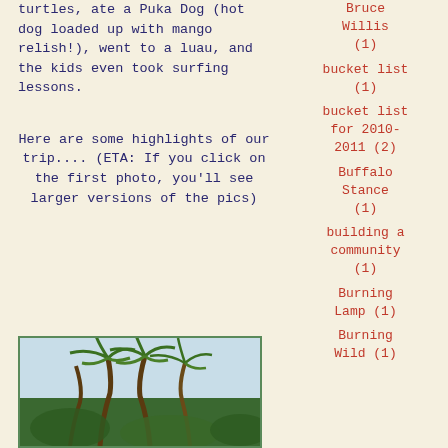turtles, ate a Puka Dog (hot dog loaded up with mango relish!), went to a luau, and the kids even took surfing lessons.
Here are some highlights of our trip.... (ETA: If you click on the first photo, you'll see larger versions of the pics)
Bruce Willis (1)
bucket list (1)
bucket list for 2010-2011 (2)
Buffalo Stance (1)
building a community (1)
Burning Lamp (1)
Burning Wild (1)
[Figure (photo): Palm trees with fronds blowing in the wind, tropical scene]